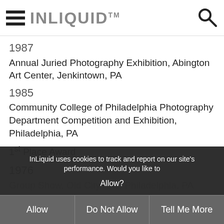INLIQUID™
1987
Annual Juried Photography Exhibition, Abington Art Center, Jenkintown, PA
1985
Community College of Philadelphia Photography Department Competition and Exhibition, Philadelphia, PA
1st Place Award
1976
Group Show, Old City Arts, Philadelphia, PA
InLiquid uses cookies to track and report on our site's performance. Would you like to Allow?
Allow
Do Not Allow
Tell Me More